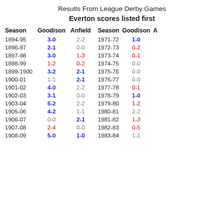Results From League Derby Games
Everton scores listed first
| Season | Goodison | Anfield | Season | Goodison | Anfield |
| --- | --- | --- | --- | --- | --- |
| 1894-95 | 3-0 | 2-2 | 1971-72 | 1-0 |  |
| 1896-97 | 2-1 | 0-0 | 1972-73 | 0-2 |  |
| 1897-98 | 3-0 | 1-3 | 1973-74 | 0-1 |  |
| 1898-99 | 1-2 | 0-2 | 1974-75 | 0-0 |  |
| 1899-1900 | 3-2 | 2-1 | 1975-76 | 0-0 |  |
| 1900-01 | 1-1 | 2-1 | 1976-77 | 0-0 |  |
| 1901-02 | 4-0 | 2-2 | 1977-78 | 0-1 |  |
| 1902-03 | 3-1 | 0-0 | 1978-79 | 1-0 |  |
| 1903-04 | 5-2 | 2-2 | 1979-80 | 1-2 |  |
| 1905-06 | 4-2 | 1-1 | 1980-81 | 2-2 |  |
| 1906-07 | 0-0 | 2-1 | 1981-82 | 1-3 |  |
| 1907-08 | 2-4 | 0-0 | 1982-83 | 0-5 |  |
| 1908-09 | 5-0 | 1-0 | 1983-84 | 1-1 |  |